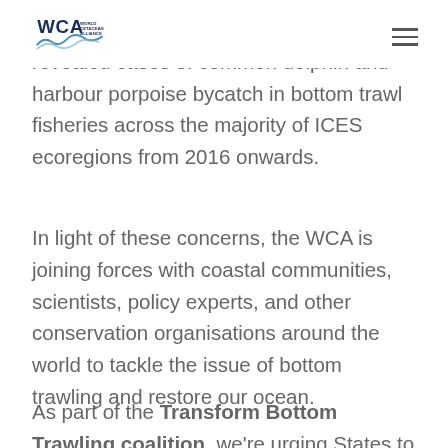WCA (World Cetacean Alliance logo) — navigation header
cetacean bycatch, a 2022 ICES review revealed cases of common dolphin and harbour porpoise bycatch in bottom trawl fisheries across the majority of ICES ecoregions from 2016 onwards.
In light of these concerns, the WCA is joining forces with coastal communities, scientists, policy experts, and other conservation organisations around the world to tackle the issue of bottom trawling and restore our ocean.
As part of the Transform Bottom Trawling coalition, we're urging States to ban bottom